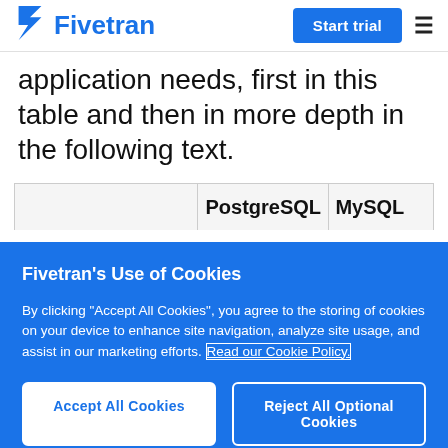Fivetran | Start trial
application needs, first in this table and then in more depth in the following text.
|  | PostgreSQL | MySQL |
| --- | --- | --- |
Fivetran's Use of Cookies
By clicking "Accept All Cookies", you agree to the storing of cookies on your device to enhance site navigation, analyze site usage, and assist in our marketing efforts. Read our Cookie Policy.